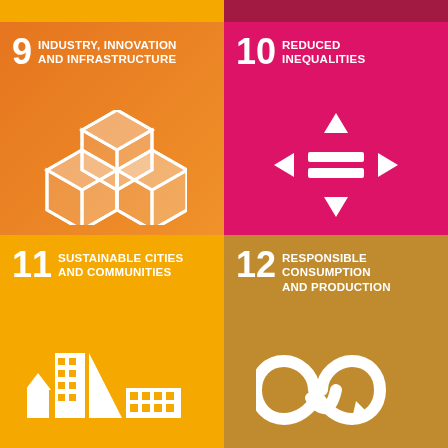[Figure (infographic): UN SDG Goal 9 - Industry, Innovation and Infrastructure. Orange gradient tile with number 9, title text, and white 3D boxes icon.]
[Figure (infographic): UN SDG Goal 10 - Reduced Inequalities. Magenta/pink tile with number 10, title text, and white equality arrows icon.]
[Figure (infographic): UN SDG Goal 11 - Sustainable Cities and Communities. Yellow/orange tile with number 11, title text, and white city buildings icon.]
[Figure (infographic): UN SDG Goal 12 - Responsible Consumption and Production. Dark yellow/olive tile with number 12, title text, and white infinity loop icon.]